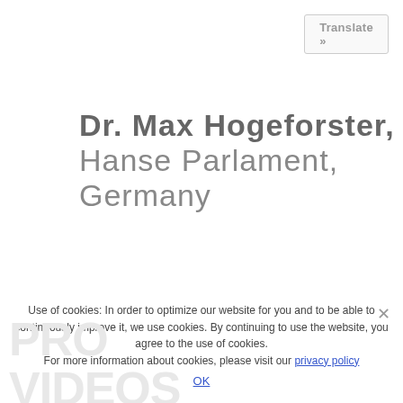Translate »
Dr. Max Hogeforster, Hanse Parlament, Germany
Download Presentation
Use of cookies: In order to optimize our website for you and to be able to continuously improve it, we use cookies. By continuing to use the website, you agree to the use of cookies. For more information about cookies, please visit our privacy policy
OK